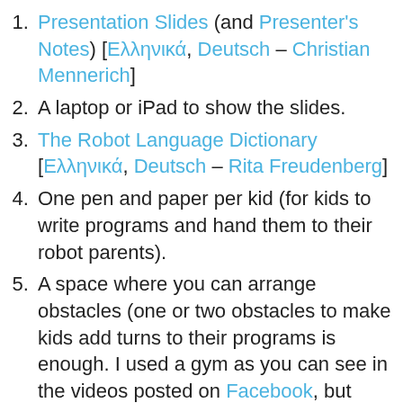Presentation Slides (and Presenter's Notes) [Ελληνικά, Deutsch – Christian Mennerich]
A laptop or iPad to show the slides.
The Robot Language Dictionary [Ελληνικά, Deutsch – Rita Freudenberg]
One pen and paper per kid (for kids to write programs and hand them to their robot parents).
A space where you can arrange obstacles (one or two obstacles to make kids add turns to their programs is enough. I used a gym as you can see in the videos posted on Facebook, but